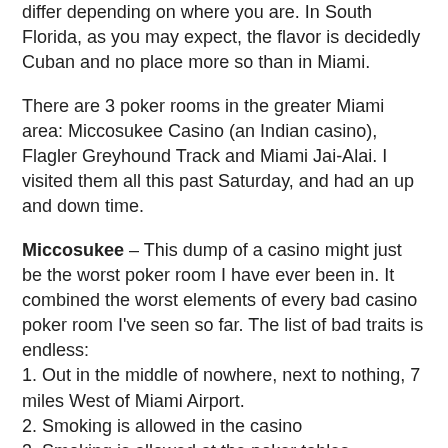differ depending on where you are. In South Florida, as you may expect, the flavor is decidedly Cuban and no place more so than in Miami.
There are 3 poker rooms in the greater Miami area: Miccosukee Casino (an Indian casino), Flagler Greyhound Track and Miami Jai-Alai. I visited them all this past Saturday, and had an up and down time.
Miccosukee – This dump of a casino might just be the worst poker room I have ever been in. It combined the worst elements of every bad casino poker room I've seen so far. The list of bad traits is endless:
1. Out in the middle of nowhere, next to nothing, 7 miles West of Miami Airport.
2. Smoking is allowed in the casino
3. Smoking is allowed at the poker tables
4. The seats are uncomfortable.
5. The tables are dirty and dingy and lack in-table shufflers.
6. The room is run by the Spanish speaking descendents of Nazis. For example, they won't let you near the tables unless you are playing in a game. I came early to put myself on a